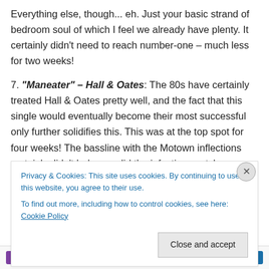Everything else, though... eh. Just your basic strand of bedroom soul of which I feel we already have plenty. It certainly didn't need to reach number-one – much less for two weeks!
7. "Maneater" – Hall & Oates: The 80s have certainly treated Hall & Oates pretty well, and the fact that this single would eventually become their most successful only further solidifies this. This was at the top spot for four weeks! The bassline with the Motown inflections certainly didn't help, nor did the infectious catchy melody, a staple of Hall & Oates tunes at this point ("Whoa-oa, here she
Privacy & Cookies: This site uses cookies. By continuing to use this website, you agree to their use.
To find out more, including how to control cookies, see here: Cookie Policy
Close and accept